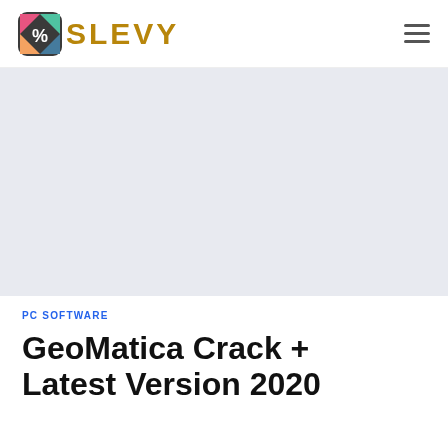SLEVY
[Figure (other): Slevy logo icon — a rounded square with colorful geometric shapes and a percent sign]
[Figure (other): Advertisement/banner placeholder area with light blue-grey background]
PC SOFTWARE
GeoMatica Crack + Latest Version 2020